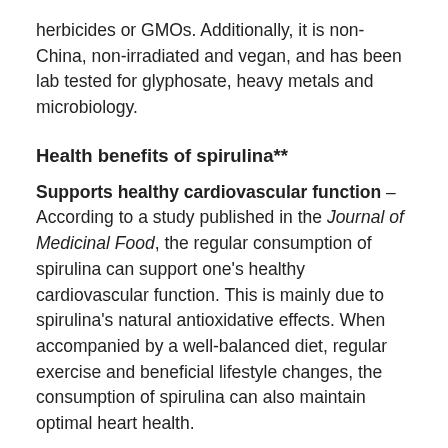herbicides or GMOs. Additionally, it is non-China, non-irradiated and vegan, and has been lab tested for glyphosate, heavy metals and microbiology.
Health benefits of spirulina**
Supports healthy cardiovascular function – According to a study published in the Journal of Medicinal Food, the regular consumption of spirulina can support one's healthy cardiovascular function. This is mainly due to spirulina's natural antioxidative effects. When accompanied by a well-balanced diet, regular exercise and beneficial lifestyle changes, the consumption of spirulina can also maintain optimal heart health.
Promotes healthy metabolism and energy